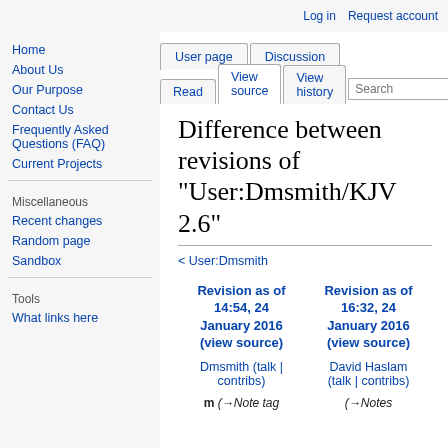Log in  Request account
Home
About Us
Our Purpose
Contact Us
Frequently Asked Questions (FAQ)
Current Projects
Recent changes
Random page
Sandbox
What links here
Difference between revisions of "User:Dmsmith/KJV 2.6"
< User:Dmsmith
| Revision as of 14:54, 24 January 2016 (view source) | Revision as of 16:32, 24 January 2016 (view source) |
| --- | --- |
| Dmsmith (talk | contribs) | David Haslam (talk | contribs) |
| m (→Note tag | (→Notes |